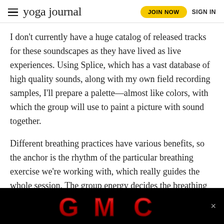yoga journal | JOIN NOW   SIGN IN
I don't currently have a huge catalog of released tracks for these soundscapes as they have lived as live experiences. Using Splice, which has a vast database of high quality sounds, along with my own field recording samples, I'll prepare a palette—almost like colors, with which the group will use to paint a picture with sound together.
Different breathing practices have various benefits, so the anchor is the rhythm of the particular breathing exercise we're working with, which really guides the whole session. The group energy decides the breathing exercise we're going to practice together along with the tones, textures or elements we will incorporate, and from there we co-create the beat. Then the rhythm of the breath leads the way for the rest of the journey.
[Figure (logo): GMC advertisement banner in red metallic letters on black background with a close (×) button]